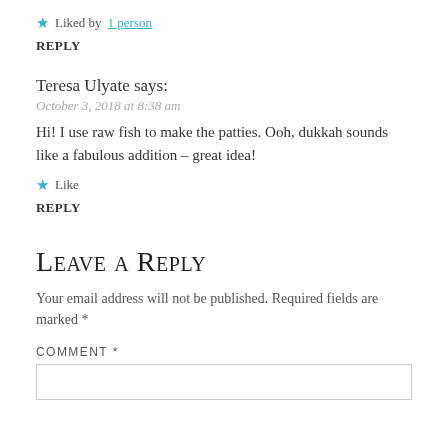★ Liked by 1 person
REPLY
Teresa Ulyate says:
October 3, 2018 at 8:38 am
Hi! I use raw fish to make the patties. Ooh, dukkah sounds like a fabulous addition – great idea!
★ Like
REPLY
Leave a Reply
Your email address will not be published. Required fields are marked *
COMMENT *